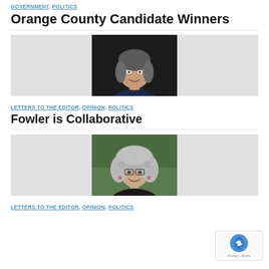GOVERNMENT, POLITICS
Orange County Candidate Winners
[Figure (photo): Photo of a woman with short dark hair, smiling, wearing a dark top and necklace, against a dark background. Flanked by grey panels.]
LETTERS TO THE EDITOR, OPINION, POLITICS
Fowler is Collaborative
[Figure (photo): Photo of a woman with long curly grey hair and glasses, smiling, wearing a dark sleeveless top, outdoors with greenery in background. Flanked by grey panels.]
LETTERS TO THE EDITOR, OPINION, POLITICS